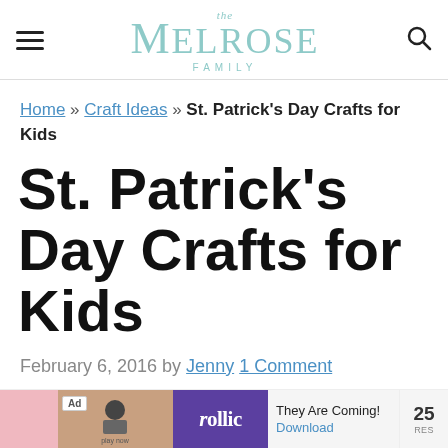The Melrose Family
Home » Craft Ideas » St. Patrick's Day Crafts for Kids
St. Patrick's Day Crafts for Kids
February 6, 2016 by Jenny 1 Comment
[Figure (other): Advertisement banner at bottom of page showing rollic ad with 'They Are Coming!' text and Download button]